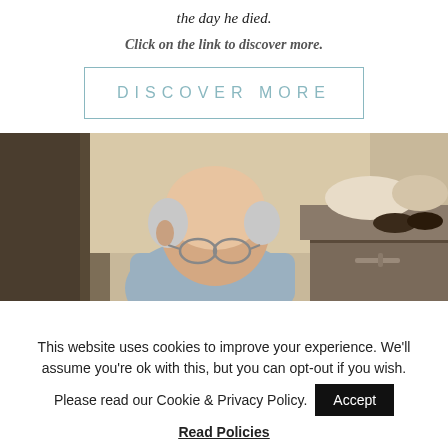the day he died.
Click on the link to discover more.
DISCOVER MORE
[Figure (photo): Elderly man with glasses, head bowed, sitting near a dresser with clothes and shoes visible in the background.]
This website uses cookies to improve your experience. We'll assume you're ok with this, but you can opt-out if you wish. Please read our Cookie & Privacy Policy. Accept Read Policies